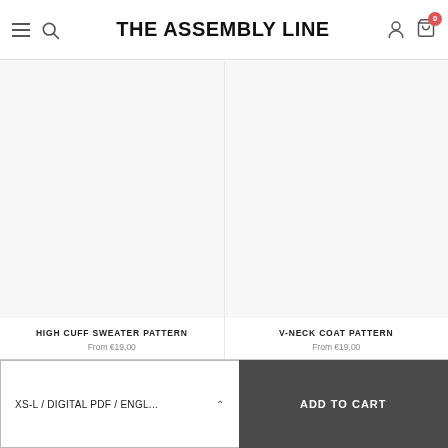THE ASSEMBLY LINE
HIGH CUFF SWEATER PATTERN
From €19,00
V-NECK COAT PATTERN
From €19,00
XS-L / DIGITAL PDF / ENGL...
ADD TO CART